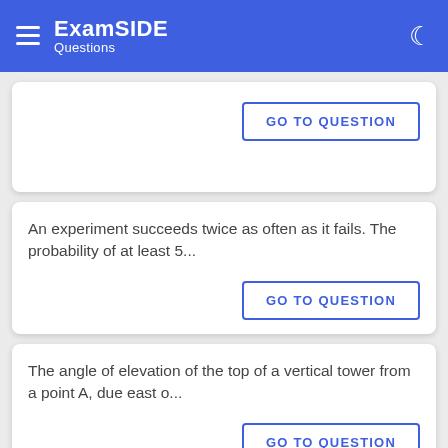ExamSIDE Questions
GO TO QUESTION
An experiment succeeds twice as often as it fails. The probability of at least 5...
GO TO QUESTION
The angle of elevation of the top of a vertical tower from a point A, due east o...
GO TO QUESTION